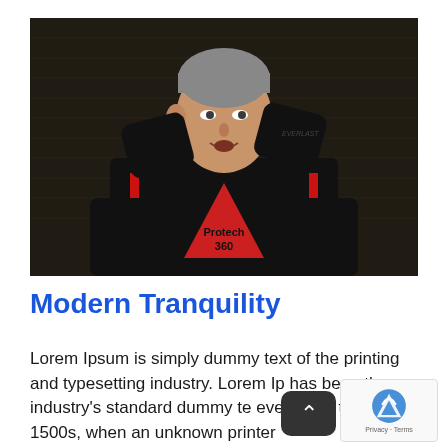[Figure (photo): A middle-aged man with gray hair wearing a black Protech 360 padded training jacket and black MMA gloves raised near his head in a boxing/martial arts stance, photographed in a gym with wooden wall bars in the background.]
Modern Tranquility
Lorem Ipsum is simply dummy text of the printing and typesetting industry. Lorem Ip has been the industry's standard dummy te ever since the 1500s, when an unknown printer